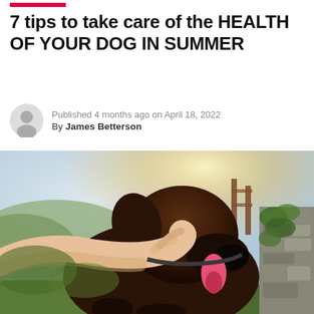7 tips to take care of the HEALTH OF YOUR DOG IN SUMMER
Published 4 months ago on April 18, 2022
By James Betterson
[Figure (photo): A person's hand holding the face of a happy brown dog with its tongue out, outdoors in a sunny rural/garden setting with green plants and stone wall in background]